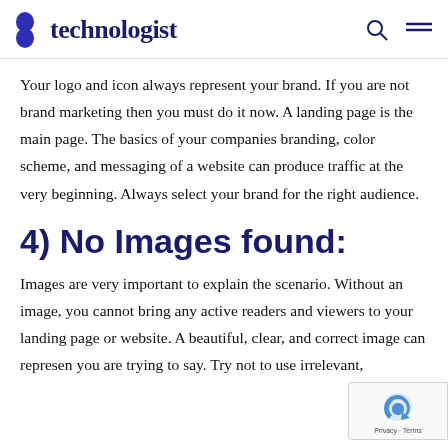8 technologist
Your logo and icon always represent your brand. If you are not brand marketing then you must do it now. A landing page is the main page. The basics of your companies branding, color scheme, and messaging of a website can produce traffic at the very beginning. Always select your brand for the right audience.
4) No Images found:
Images are very important to explain the scenario. Without an image, you cannot bring any active readers and viewers to your landing page or website. A beautiful, clear, and correct image can represent you are trying to say. Try not to use irrelevant,